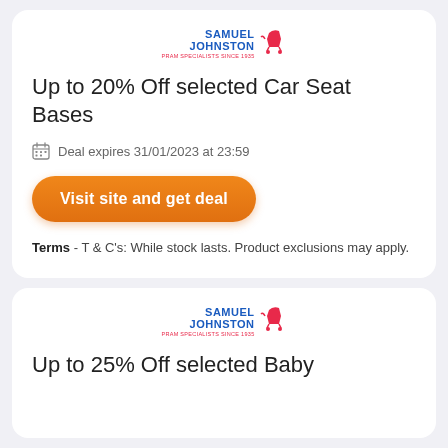[Figure (logo): Samuel Johnston pram specialists logo with blue text and pink pram icon]
Up to 20% Off selected Car Seat Bases
Deal expires 31/01/2023 at 23:59
Visit site and get deal
Terms - T & C's: While stock lasts. Product exclusions may apply.
[Figure (logo): Samuel Johnston pram specialists logo with blue text and pink pram icon]
Up to 25% Off selected Baby